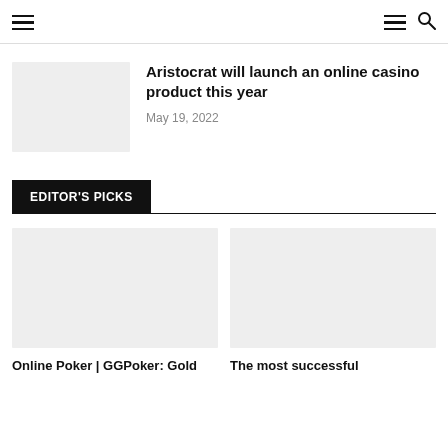Navigation header with hamburger menu and search icon
[Figure (photo): Article thumbnail placeholder image (light gray rectangle)]
Aristocrat will launch an online casino product this year
May 19, 2022
EDITOR'S PICKS
[Figure (photo): Card thumbnail placeholder image (light gray rectangle) for Online Poker | GGPoker: Gold article]
Online Poker | GGPoker: Gold
[Figure (photo): Card thumbnail placeholder image (light gray rectangle) for The most successful article]
The most successful